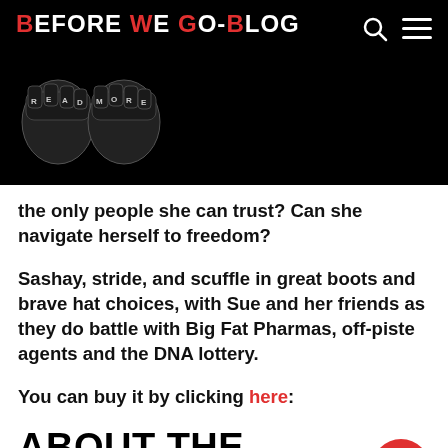BEFORE WE GO BLOG
the only people she can trust? Can she navigate herself to freedom?
Sashay, stride, and scuffle in great boots and brave hat choices, with Sue and her friends as they do battle with Big Fat Pharmas, off-piste agents and the DNA lottery.
You can buy it by clicking here:
ABOUT THE BOOK
Changing the Subject, out on Amazon on